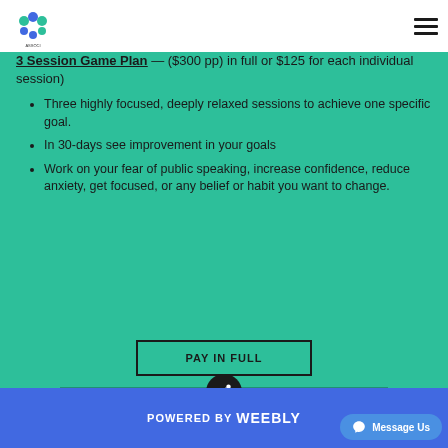Projects for Nonprofit — navigation header with logo and hamburger menu
3 Session Game Plan — ($300 pp) in full or $125 for each individual session)
Three highly focused, deeply relaxed sessions to achieve one specific goal.
In 30-days see improvement in your goals
Work on your fear of public speaking, increase confidence, reduce anxiety, get focused, or any belief or habit you want to change.
PAY IN FULL
POWERED BY weebly — Message Us